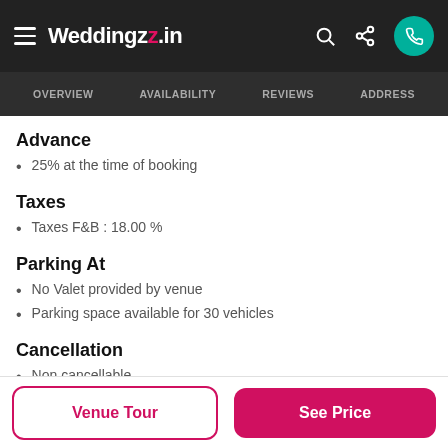Weddingz.in — OVERVIEW  AVAILABILITY  REVIEWS  ADDRESS
Advance
25% at the time of booking
Taxes
Taxes F&B : 18.00 %
Parking At
No Valet provided by venue
Parking space available for 30 vehicles
Cancellation
Non cancellable
Lodging
Venue Tour | See Price